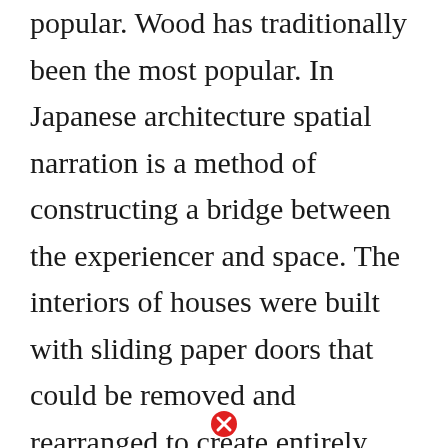popular. Wood has traditionally been the most popular. In Japanese architecture spatial narration is a method of constructing a bridge between the experiencer and space. The interiors of houses were built with sliding paper doors that could be removed and rearranged to create entirely different layouts within the home. Provides a wealth of free download materials on this siteThe site is full of interesting content like Paper Craft and Scrapbook so youre sure to find something
[Figure (illustration): Red circle with white X close button, located at bottom center of the page]